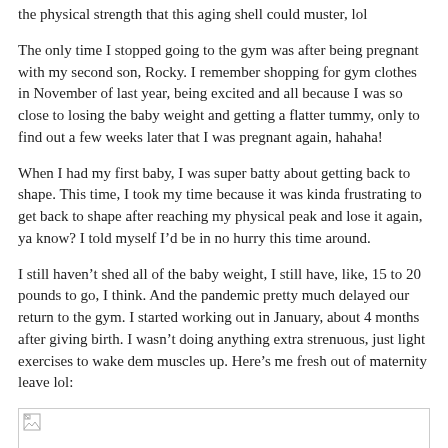the physical strength that this aging shell could muster, lol
The only time I stopped going to the gym was after being pregnant with my second son, Rocky. I remember shopping for gym clothes in November of last year, being excited and all because I was so close to losing the baby weight and getting a flatter tummy, only to find out a few weeks later that I was pregnant again, hahaha!
When I had my first baby, I was super batty about getting back to shape. This time, I took my time because it was kinda frustrating to get back to shape after reaching my physical peak and lose it again, ya know? I told myself I’d be in no hurry this time around.
I still haven’t shed all of the baby weight, I still have, like, 15 to 20 pounds to go, I think. And the pandemic pretty much delayed our return to the gym. I started working out in January, about 4 months after giving birth. I wasn’t doing anything extra strenuous, just light exercises to wake dem muscles up. Here’s me fresh out of maternity leave lol:
[Figure (photo): A photo placeholder (broken image icon) representing the author fresh out of maternity leave.]